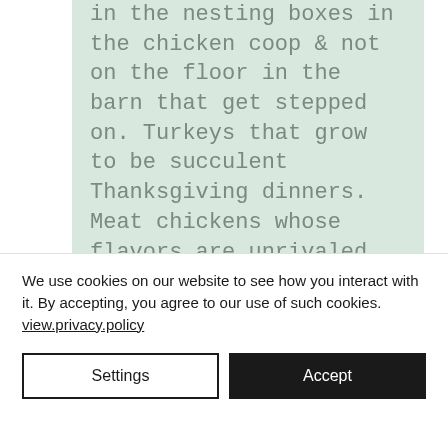in the nesting boxes in the chicken coop & not on the floor in the barn that get stepped on. Turkeys that grow to be succulent Thanksgiving dinners. Meat chickens whose flavors are unrivaled by any supermarket bird.

A garden with perfect straight rows without a
We use cookies on our website to see how you interact with it. By accepting, you agree to our use of such cookies. view.privacy.policy
Settings
Accept